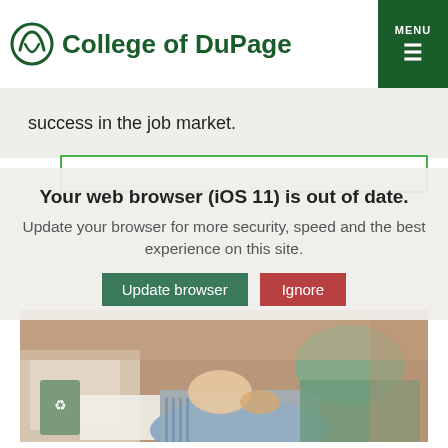College of DuPage
success in the job market.
Your web browser (iOS 11) is out of date. Update your browser for more security, speed and the best experience on this site.
[Figure (photo): Person receiving a massage or chiropractic treatment from a healthcare professional in a clinical or community setting.]